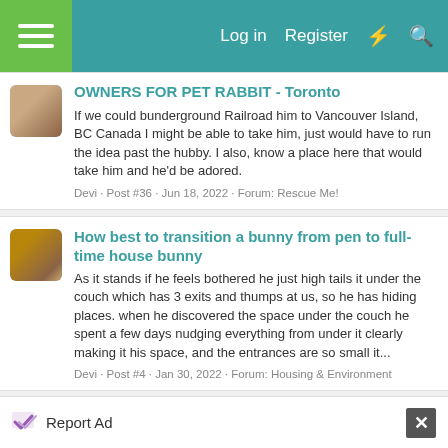Log in  Register
OWNERS FOR PET RABBIT - Toronto
If we could bunderground Railroad him to Vancouver Island, BC Canada I might be able to take him, just would have to run the idea past the hubby. I also, know a place here that would take him and he'd be adored.
Devi · Post #36 · Jun 18, 2022 · Forum: Rescue Me!
How best to transition a bunny from pen to full-time house bunny
As it stands if he feels bothered he just high tails it under the couch which has 3 exits and thumps at us, so he has hiding places. when he discovered the space under the couch he spent a few days nudging everything from under it clearly making it his space, and the entrances are so small it...
Devi · Post #4 · Jan 30, 2022 · Forum: Housing & Environment
Report Ad